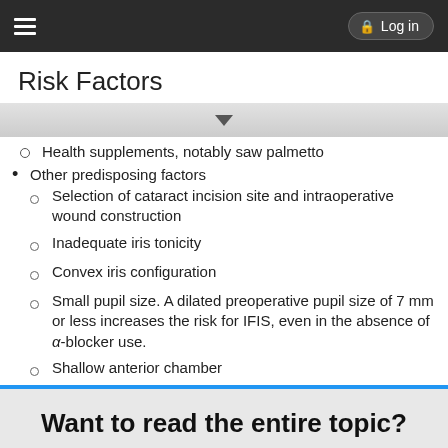Log in
Risk Factors
Health supplements, notably saw palmetto
Other predisposing factors
Selection of cataract incision site and intraoperative wound construction
Inadequate iris tonicity
Convex iris configuration
Small pupil size. A dilated preoperative pupil size of 7 mm or less increases the risk for IFIS, even in the absence of α-blocker use.
Shallow anterior chamber
Want to read the entire topic?
Purchase a subscription
I'm already a subscriber
Browse sample topics